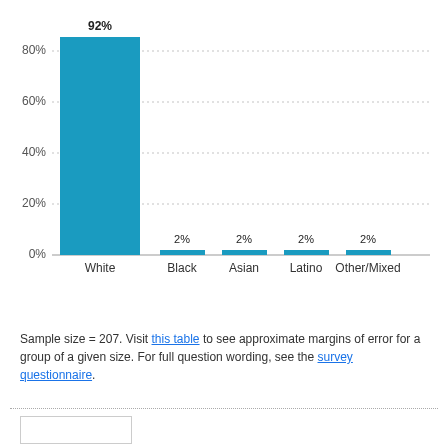[Figure (bar-chart): ]
Sample size = 207. Visit this table to see approximate margins of error for a group of a given size. For full question wording, see the survey questionnaire.